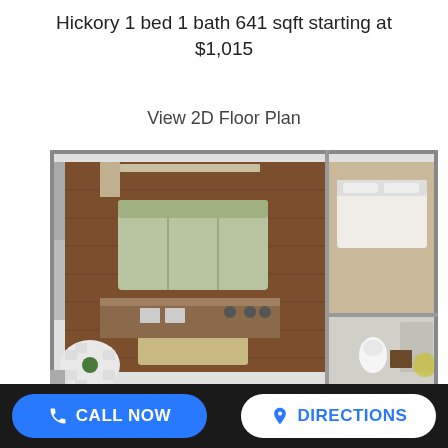Hickory 1 bed 1 bath 641 sqft starting at $1,015
View 2D Floor Plan
[Figure (illustration): 3D rendered top-down floor plan of a 1 bedroom 1 bathroom apartment unit named Hickory, showing living area with sofa and coffee table, kitchen with island and appliances, dining area with round table and chairs, bedroom with bed, bathroom, and closet spaces, with wood-look flooring throughout main areas.]
CALL NOW    DIRECTIONS